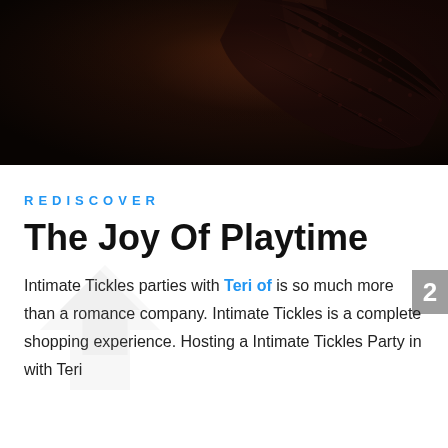[Figure (photo): Dark moody photograph showing fingers holding black lace fabric against a dark background]
REDISCOVER
The Joy Of Playtime
Intimate Tickles parties with Teri of is so much more than a romance company. Intimate Tickles is a complete shopping experience. Hosting a Intimate Tickles Party in with Teri